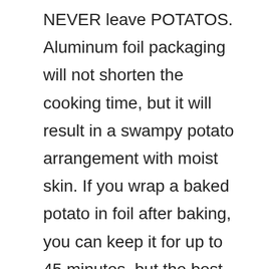NEVER leave POTATOS. Aluminum foil packaging will not shorten the cooking time, but it will result in a swampy potato arrangement with moist skin. If you wrap a baked potato in foil after baking, you can keep it for up to 45 minutes, but the best method of keeping a baked potato is in a bread box.
How do I fix an undercooked baked potato?
If you wrap this in the first time and